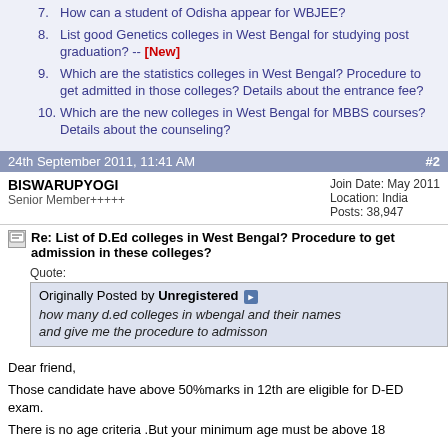7. How can a student of Odisha appear for WBJEE?
8. List good Genetics colleges in West Bengal for studying post graduation? -- [New]
9. Which are the statistics colleges in West Bengal? Procedure to get admitted in those colleges? Details about the entrance fee?
10. Which are the new colleges in West Bengal for MBBS courses? Details about the counseling?
24th September 2011, 11:41 AM    #2
BISWARUPYOGI
Senior Member+++++
Join Date: May 2011
Location: India
Posts: 38,947
Re: List of D.Ed colleges in West Bengal? Procedure to get admission in these colleges?
Quote:
Originally Posted by Unregistered
how many d.ed colleges in wbengal and their names and give me the procedure to admisson
Dear friend,
Those candidate have above 50%marks in 12th are eligible for D-ED exam.
There is no age criteria .But your minimum age must be above 18